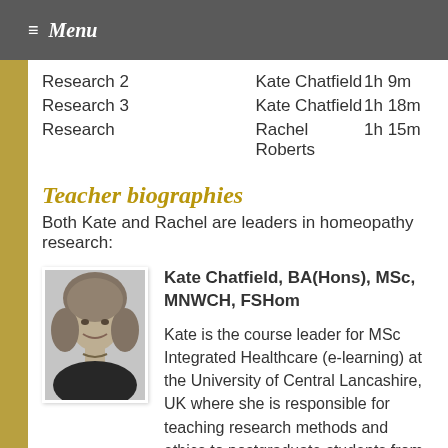☰ Menu
| Course | Instructor | Duration |
| --- | --- | --- |
| Research 2 | Kate Chatfield | 1h 9m |
| Research 3 | Kate Chatfield | 1h 18m |
| Research | Rachel Roberts | 1h 15m |
Teacher biographies
Both Kate and Rachel are leaders in homeopathy research:
[Figure (photo): Headshot photo of Kate Chatfield, a woman with shoulder-length blonde hair, smiling, black and white photo]
Kate Chatfield, BA(Hons), MSc, MNWCH, FSHom

Kate is the course leader for MSc Integrated Healthcare (e-learning) at the University of Central Lancashire, UK where she is responsible for teaching research methods and ethics to postgraduate students from a wide variety of healthcare disciplines. Initially a philosopher and then a practitioner of